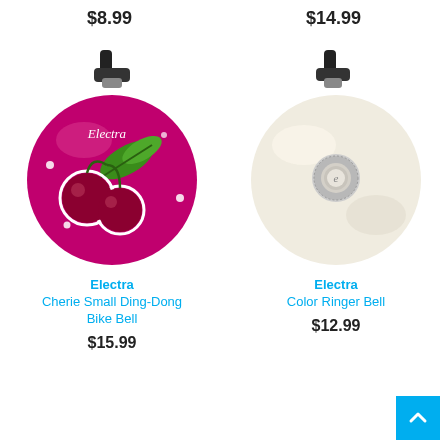$8.99
$14.99
[Figure (photo): Electra Cherie Small Ding-Dong Bike Bell — purple/magenta round bell with cherry and leaf illustration and white dots, black rubber plunger on top]
[Figure (photo): Electra Color Ringer Bell — cream/ivory round bell with silver center knob, black rubber plunger on top]
Electra
Cherie Small Ding-Dong Bike Bell
$15.99
Electra
Color Ringer Bell
$12.99